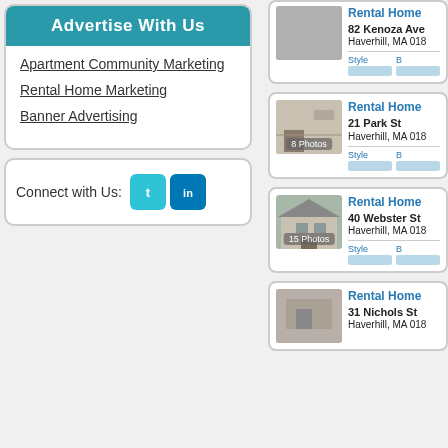Advertise With Us
Apartment Community Marketing
Rental Home Marketing
Banner Advertising
Connect with Us:
Rental Home
82 Kenoza Ave
Haverhill, MA 018…
Rental Home
21 Park St
Haverhill, MA 018…
8 Photos
Rental Home
40 Webster St
Haverhill, MA 018…
15 Photos
Rental Home
31 Nichols St
Haverhill, MA 018…